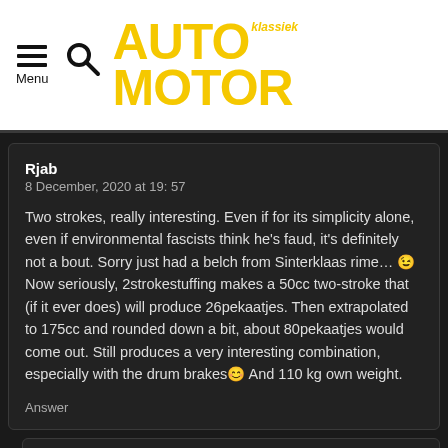Menu | AUTO MOTOR klassiek
Rjab
8 December, 2020 at 19: 57

Two strokes, really interesting. Even if for its simplicity alone, even if environmental fascists think he's faud, it's definitely not a bout. Sorry just had a belch from Sinterklaas rime… 😉 Now seriously, 2strokestuffing makes a 50cc two-stroke that (if it ever does) will produce 26pekaatjes. Then extrapolated to 175cc and rounded down a bit, about 80pekaatjes would come out. Still produces a very interesting combination, especially with the drum brakes😊 And 110 kg own weight.

Answer
Dolf Peeters
9 December, 2020 at 09: 51

…. ah…. when it's your time, it's your time Smiley The